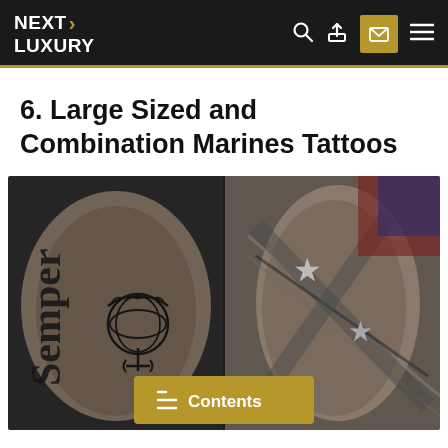NEXT LUXURY
6. Large Sized and Combination Marines Tattoos
[Figure (photo): Two side-by-side photos of Marines tattoos on forearms. Left image shows a 'Semper Fi' tattoo with USMC Eagle Globe and Anchor emblem in black and grey ink. Right image shows a Confederate/battle flag-style tattoo with stars in black and grey ink.]
Contents